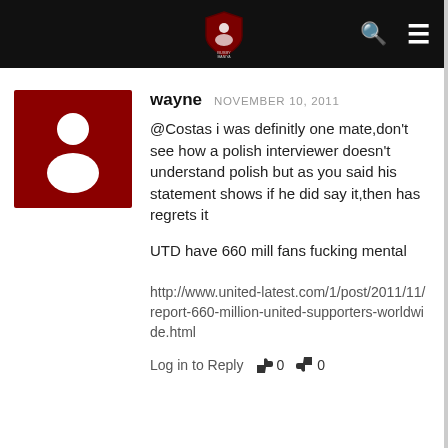BUSBY MANIA (logo/header bar)
[Figure (screenshot): User comment avatar: dark red square with white silhouette of a person (generic user icon)]
wayne  NOVEMBER 10, 2011

@Costas i was definitly one mate,don't see how a polish interviewer doesn't understand polish but as you said his statement shows if he did say it,then has regrets it

UTD have 660 mill fans fucking mental

http://www.united-latest.com/1/post/2011/11/report-660-million-united-supporters-worldwide.html

Log in to Reply  👍 0  👎 0